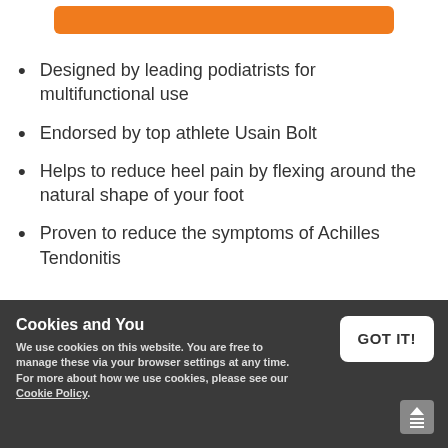[Figure (other): Orange rounded rectangle button/bar at top of page]
Designed by leading podiatrists for multifunctional use
Endorsed by top athlete Usain Bolt
Helps to reduce heel pain by flexing around the natural shape of your foot
Proven to reduce the symptoms of Achilles Tendonitis
Cookies and You
We use cookies on this website. You are free to manage these via your browser settings at any time. For more about how we use cookies, please see our Cookie Policy.